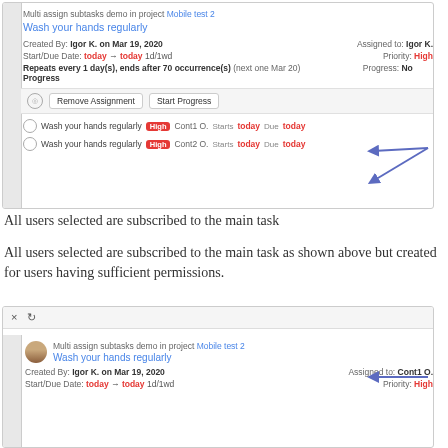[Figure (screenshot): Screenshot of task management UI showing 'Wash your hands regularly' task with two subtasks assigned to Cont1 O. and Cont2 O., with arrows pointing to the subtask rows]
All users selected are subscribed to the main task
All users selected are subscribed to the main task as shown above but created for users having sufficient permissions.
[Figure (screenshot): Screenshot of task management UI showing 'Wash your hands regularly' task assigned to Cont1 O. with arrow pointing to Assigned to field]